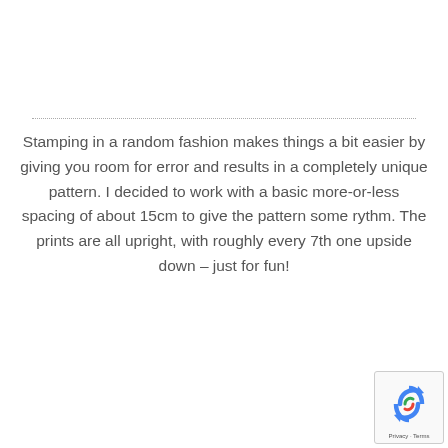Stamping in a random fashion makes things a bit easier by giving you room for error and results in a completely unique pattern. I decided to work with a basic more-or-less spacing of about 15cm to give the pattern some rythm. The prints are all upright, with roughly every 7th one upside down – just for fun!
[Figure (logo): Google reCAPTCHA badge with recycling-arrow logo and Privacy · Terms links]